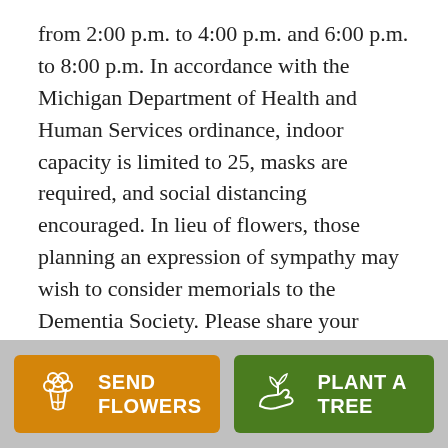from 2:00 p.m. to 4:00 p.m. and 6:00 p.m. to 8:00 p.m. In accordance with the Michigan Department of Health and Human Services ordinance, indoor capacity is limited to 25, masks are required, and social distancing encouraged. In lieu of flowers, those planning an expression of sympathy may wish to consider memorials to the Dementia Society. Please share your thoughts and memories with the family at the funeral home or through www.casefuneralhome.com.
[Figure (other): Send Flowers button with flower bouquet icon, orange background]
[Figure (other): Plant a Tree button with hand holding plant icon, green background]